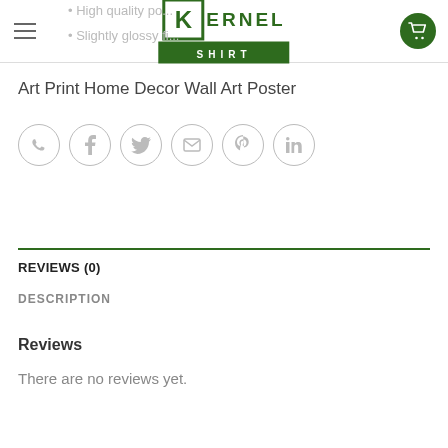Kernel Shirt - navigation header with logo and cart
High quality po...
Slightly glossy fi...
Art Print Home Decor Wall Art Poster
[Figure (infographic): Row of 6 social share icon circles: WhatsApp, Facebook, Twitter, Email, Pinterest, LinkedIn]
REVIEWS (0)
DESCRIPTION
Reviews
There are no reviews yet.